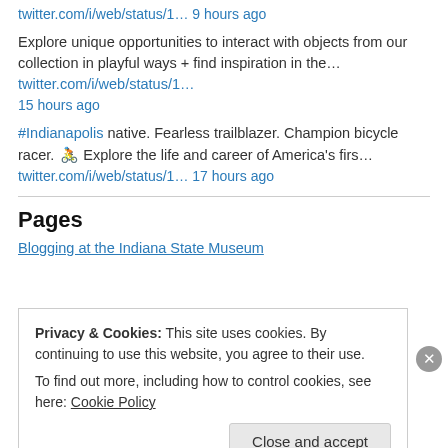twitter.com/i/web/status/1… 9 hours ago
Explore unique opportunities to interact with objects from our collection in playful ways + find inspiration in the… twitter.com/i/web/status/1… 15 hours ago
#Indianapolis native. Fearless trailblazer. Champion bicycle racer. 🚴 Explore the life and career of America's firs… twitter.com/i/web/status/1… 17 hours ago
Pages
Blogging at the Indiana State Museum
Privacy & Cookies: This site uses cookies. By continuing to use this website, you agree to their use. To find out more, including how to control cookies, see here: Cookie Policy
Close and accept